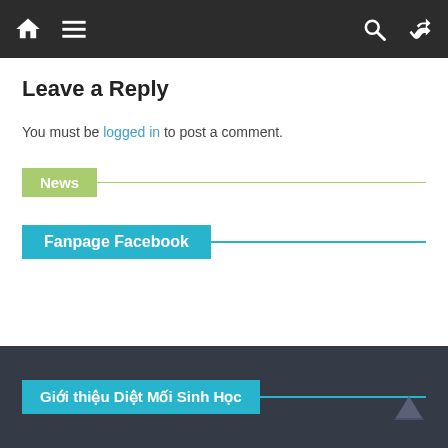Navigation bar with home, menu, search, and shuffle icons
Leave a Reply
You must be logged in to post a comment.
News
Fanpage Facebook
Giới thiệu Diệt Mối Sinh Học